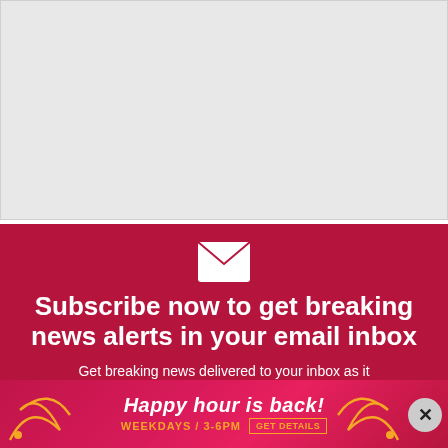[Figure (other): Gray placeholder image area at the top of the page]
[Figure (infographic): Dark red subscription call-to-action panel with envelope icon, heading 'Subscribe now to get breaking news alerts in your email inbox', and subtext 'Get breaking news delivered to your inbox as it']
[Figure (infographic): Pink/red advertisement banner at the bottom reading 'Happy hour is back!' with 'WEEKDAYS / 3-6PM' and 'GET DETAILS' button, with decorative swirl graphics and a close (X) button]